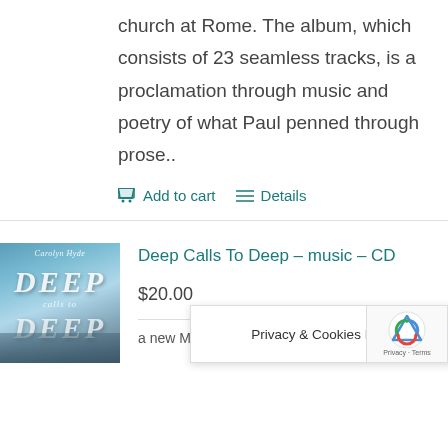church at Rome. The album, which consists of 23 seamless tracks, is a proclamation through music and poetry of what Paul penned through prose..
Add to cart  Details
[Figure (photo): Album cover for 'Deep Calls To Deep' by Carolyn Hyde — ocean/sky background with bold italic 'DEEP' text layered twice]
Deep Calls To Deep – music – CD
$20.00
a new M… and …not Dip…
Privacy & Cookies Policy